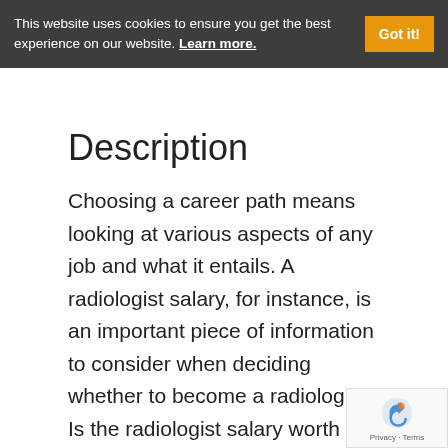This website uses cookies to ensure you get the best experience on our website. Learn more.   Got it!
Description
Choosing a career path means looking at various aspects of any job and what it entails. A radiologist salary, for instance, is an important piece of information to consider when deciding whether to become a radiologist. Is the radiologist salary worth the time and effort required to obtain the proper education for this line of .